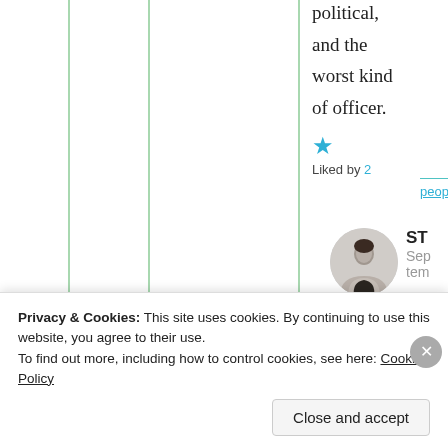political, and the worst kind of officer.
★ Liked by 2 people
ST
September
Privacy & Cookies: This site uses cookies. By continuing to use this website, you agree to their use.
To find out more, including how to control cookies, see here: Cookie Policy
Close and accept